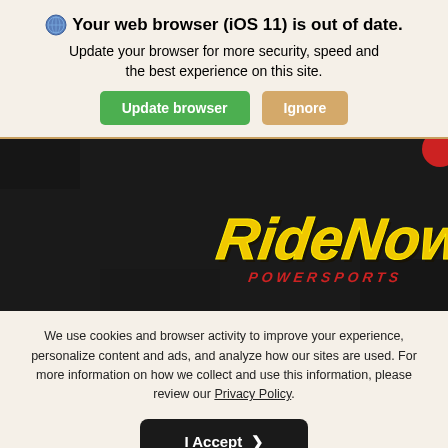🌐 Your web browser (iOS 11) is out of date. Update your browser for more security, speed and the best experience on this site.
Update browser | Ignore
[Figure (logo): RideNow Powersports logo on dark textured background with yellow stylized lettering and red accent text]
We use cookies and browser activity to improve your experience, personalize content and ads, and analyze how our sites are used. For more information on how we collect and use this information, please review our Privacy Policy.
I Accept >